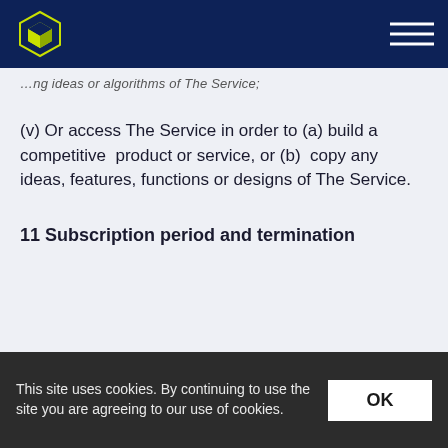…ng ideas or algorithms of The Service;
(v) Or access The Service in order to (a) build a competitive product or service, or (b) copy any ideas, features, functions or designs of The Service.
11 Subscription period and termination
This site uses cookies. By continuing to use the site you are agreeing to our use of cookies.